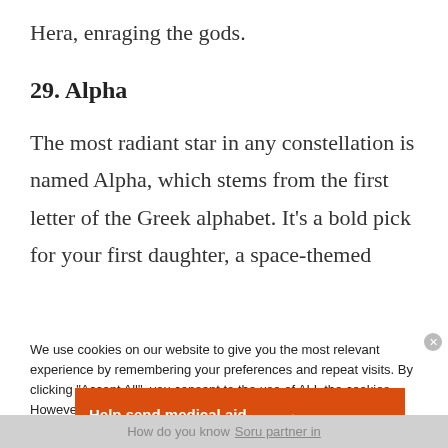Hera, enraging the gods.
29. Alpha
The most radiant star in any constellation is named Alpha, which stems from the first letter of the Greek alphabet. It’s a bold pick for your first daughter, a space-themed
We use cookies on our website to give you the most relevant experience by remembering your preferences and repeat visits. By clicking “Accept All”, you consent to the use of ALL the cookies. However, you may visit "Cookie Settings" to
[Figure (infographic): Advertisement banner for Direct Relief charity: orange background with text 'Help send medical aid to Ukraine >>' and Direct Relief logo on the right]
How do you know Soru partner in